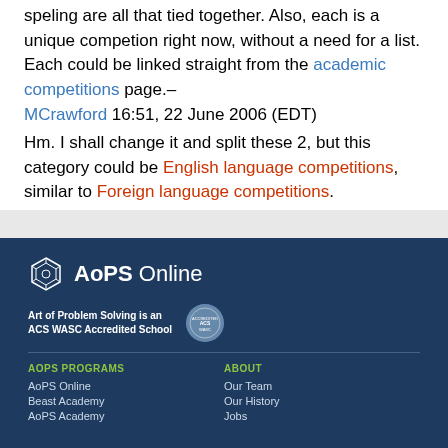speling are all that tied together. Also, each is a unique competion right now, without a need for a list. Each could be linked straight from the academic competitions page.– MCrawford 16:51, 22 June 2006 (EDT)
Hm. I shall change it and split these 2, but this category could be English language competitions, similar to Foreign language competitions.
AoPS Online | Art of Problem Solving is an ACS WASC Accredited School | AOPS PROGRAMS: AoPS Online, Beast Academy, AoPS Academy | ABOUT: Our Team, Our History, Jobs